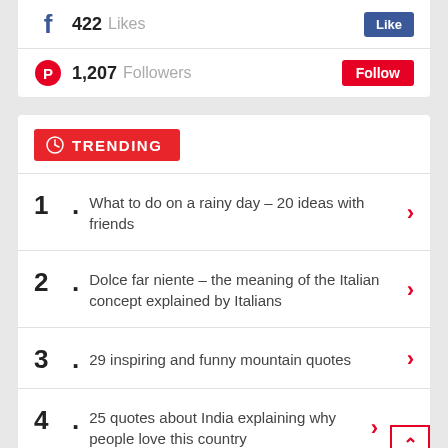422 Likes
1,207 Followers
TRENDING
What to do on a rainy day – 20 ideas with friends
Dolce far niente – the meaning of the Italian concept explained by Italians
29 inspiring and funny mountain quotes
25 quotes about India explaining why people love this country